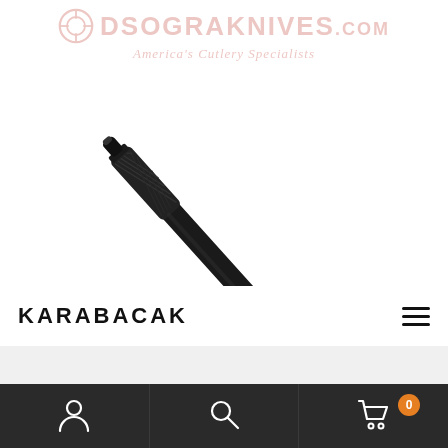DSOGRAKNIVES.COM America's Cutlery Specialists
[Figure (photo): Black cylindrical tactical pen or baton with knurled grip section, photographed diagonally on white background]
KARABACAK
[Figure (infographic): Bottom navigation bar with user/account icon, search icon, and shopping cart icon with badge showing 0]